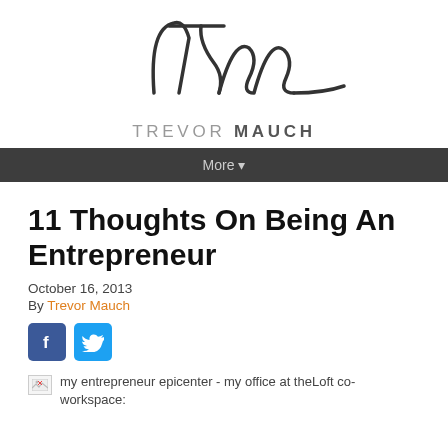[Figure (logo): Trevor Mauch handwritten signature/logo in dark grey cursive, large TM initials style]
TREVOR MAUCH
More ▾
11 Thoughts On Being An Entrepreneur
October 16, 2013
By Trevor Mauch
[Figure (illustration): Facebook and Twitter social share buttons]
my entrepreneur epicenter - my office at theLoft co-workspace: